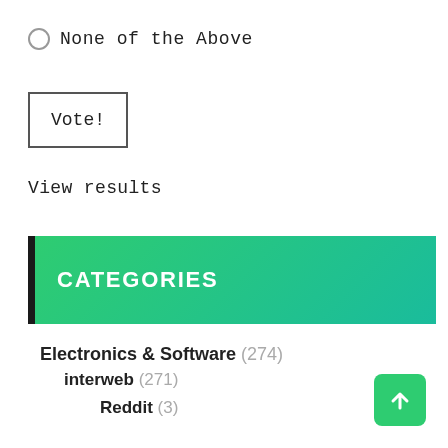None of the Above
Vote!
View results
CATEGORIES
Electronics & Software (274)
interweb (271)
Reddit (3)
Social Media (5)
Web Sites of Mine (159)